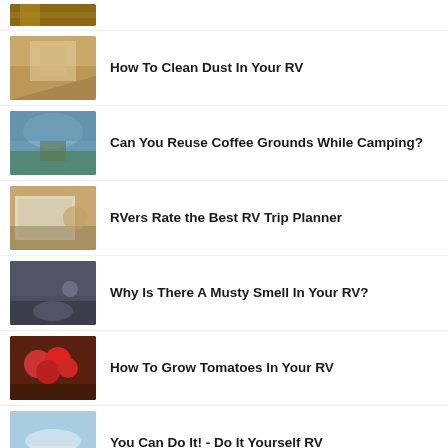[Figure (photo): Partial top image, cropped at top of page]
How To Clean Dust In Your RV
Can You Reuse Coffee Grounds While Camping?
RVers Rate the Best RV Trip Planner
Why Is There A Musty Smell In Your RV?
How To Grow Tomatoes In Your RV
You Can Do It! - Do It Yourself RV